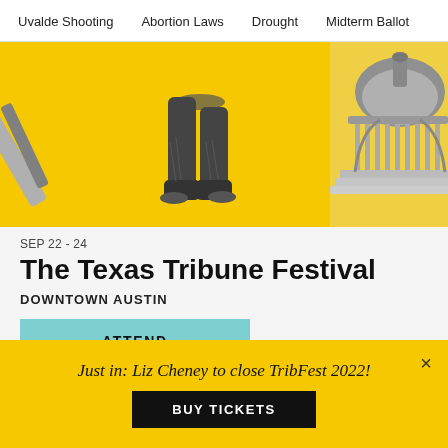Uvalde Shooting   Abortion Laws   Drought   Midterm Ballot
[Figure (photo): Hero banner image with yellow background showing cowboy boots jumping in air and the Texas State Capitol building, black and white overlay on yellow.]
SEP 22 - 24
The Texas Tribune Festival
DOWNTOWN AUSTIN
ATTEND
[Figure (photo): Bottom banner with colorful top strip, SEP label box, diagonal graphic elements on yellow background with dark star/geometric shapes on right.]
Just in: Liz Cheney to close TribFest 2022!
BUY TICKETS